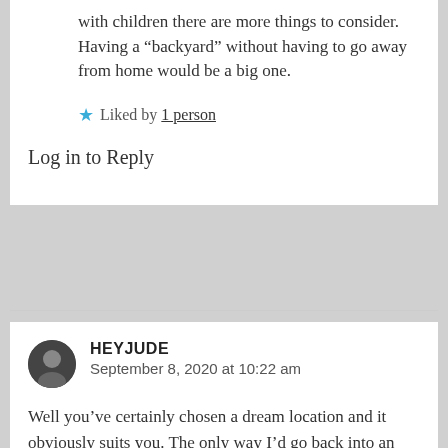with children there are more things to consider. Having a “backyard” without having to go away from home would be a big one.
★ Liked by 1 person
Log in to Reply
HEYJUDE
September 8, 2020 at 10:22 am
Well you’ve certainly chosen a dream location and it obviously suits you. The only way I’d go back into an apartment or flat as we call them, is by having the penthouse floor to myself! We live in a 4 story... 5 level...flat in S...